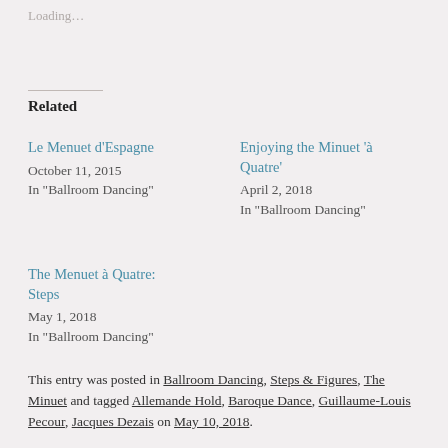Loading...
Related
Le Menuet d’Espagne
October 11, 2015
In "Ballroom Dancing"
Enjoying the Minuet ‘à Quatre’
April 2, 2018
In "Ballroom Dancing"
The Menuet à Quatre: Steps
May 1, 2018
In "Ballroom Dancing"
This entry was posted in Ballroom Dancing, Steps & Figures, The Minuet and tagged Allemande Hold, Baroque Dance, Guillaume-Louis Pecour, Jacques Dezais on May 10, 2018.